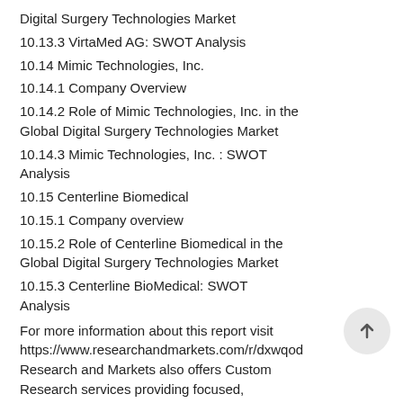Digital Surgery Technologies Market
10.13.3 VirtaMed AG: SWOT Analysis
10.14 Mimic Technologies, Inc.
10.14.1 Company Overview
10.14.2 Role of Mimic Technologies, Inc. in the Global Digital Surgery Technologies Market
10.14.3 Mimic Technologies, Inc. : SWOT Analysis
10.15 Centerline Biomedical
10.15.1 Company overview
10.15.2 Role of Centerline Biomedical in the Global Digital Surgery Technologies Market
10.15.3 Centerline BioMedical: SWOT Analysis
For more information about this report visit https://www.researchandmarkets.com/r/dxwqod Research and Markets also offers Custom Research services providing focused,